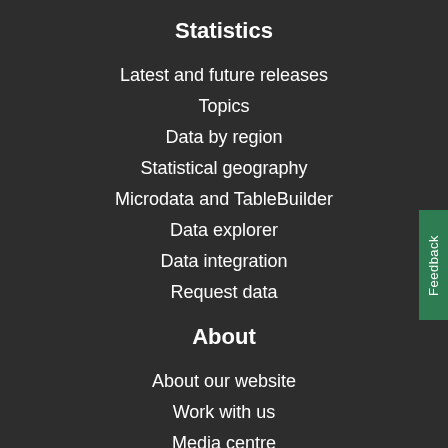Statistics
Latest and future releases
Topics
Data by region
Statistical geography
Microdata and TableBuilder
Data explorer
Data integration
Request data
About
About our website
Work with us
Media centre
Citing ABS
Consultation hub